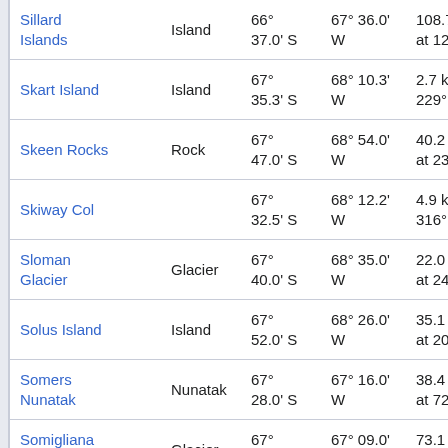| Name | Type | Latitude | Longitude | Distance |
| --- | --- | --- | --- | --- |
| Sillard Islands | Island | 66° 37.0' S | 67° 36.0' W | 108.7 k at 12° |
| Skart Island | Island | 67° 35.3' S | 68° 10.3' W | 2.7 km 229° |
| Skeen Rocks | Rock | 67° 47.0' S | 68° 54.0' W | 40.2 km at 234° |
| Skiway Col |  | 67° 32.5' S | 68° 12.2' W | 4.9 km 316° |
| Sloman Glacier | Glacier | 67° 40.0' S | 68° 35.0' W | 22.0 km at 242° |
| Solus Island | Island | 67° 52.0' S | 68° 26.0' W | 35.1 km at 202° |
| Somers Nunatak | Nunatak | 67° 28.0' S | 67° 16.0' W | 38.4 km at 72° |
| Somigliana Glacier | Glacier | 67° 02.0' S | 67° 09.0' W | 73.1 km at 35° |